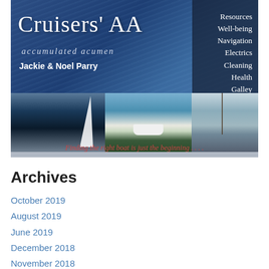[Figure (illustration): Book cover for 'Cruisers' AA accumulated acumen' by Jackie & Noel Parry. Top section has a blue water-background with cursive white title text, subtitle 'accumulated acumen', author names in bold white. Right sidebar lists: Resources, Well-being, Navigation, Electrics, Cleaning, Health, Galley, Pets. Bottom shows three sailing/boat photos side by side. Tagline: 'Finding the right boat is just the beginning . . . .']
Archives
October 2019
August 2019
June 2019
December 2018
November 2018
October 2018